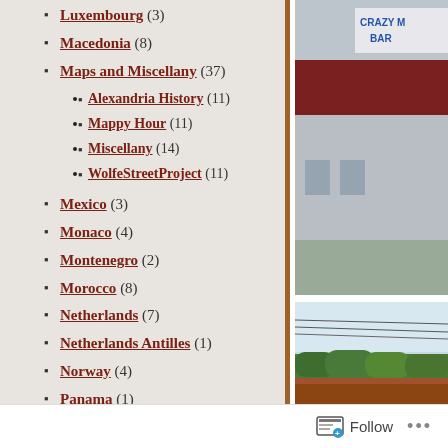Luxembourg (3)
Macedonia (8)
Maps and Miscellany (37)
Alexandria History (11)
Mappy Hour (11)
Miscellany (14)
WolfeStreetProject (11)
Mexico (3)
Monaco (4)
Montenegro (2)
Morocco (8)
Netherlands (7)
Netherlands Antilles (1)
Norway (4)
Panama (1)
Poland (3)
Portugal (1)
Qatar (2)
[Figure (photo): Top photo: partial view of a building exterior with a sign reading 'CRAZY M... BAR' in blue letters on white background]
[Figure (photo): Bottom photo: outdoor scene with trees, power lines, and rooftop visible against a light blue sky]